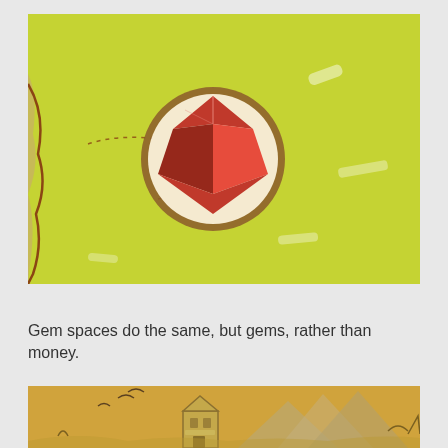[Figure (photo): A close-up photo of a board game map with a yellow-green background. In the center is a circular token with a cream/white background showing a red gem/crystal illustration. There are dotted trail lines and faint white brushstroke marks on the map background. The left edge shows a brown terrain border.]
Gem spaces do the same, but gems, rather than money.
[Figure (photo): A partial close-up photo of a board game map with a golden-yellow/tan background showing illustrated mountains, a tower/castle building, birds, and stylized terrain in the style of an old illustrated map.]